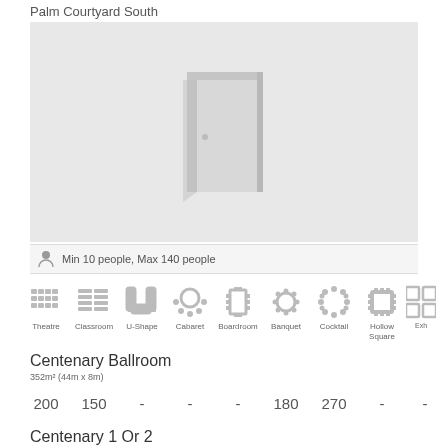Palm Courtyard South
[Figure (illustration): Placeholder image with a door icon on a light grey background]
Min 10 people, Max 140 people
[Figure (infographic): Row of venue layout icons: Theatre, Classroom, U-Shape, Cabaret, Boardroom, Banquet, Cocktail, Hollow Square, Exhibition]
Centenary Ballroom
352m² (44m x 8m)
| Theatre | Classroom | U-Shape | Cabaret | Boardroom | Banquet | Cocktail | Hollow Square | Exh |
| --- | --- | --- | --- | --- | --- | --- | --- | --- |
| 200 | 150 | - | - | - | 180 | 270 | - | - |
Centenary 1 Or 2